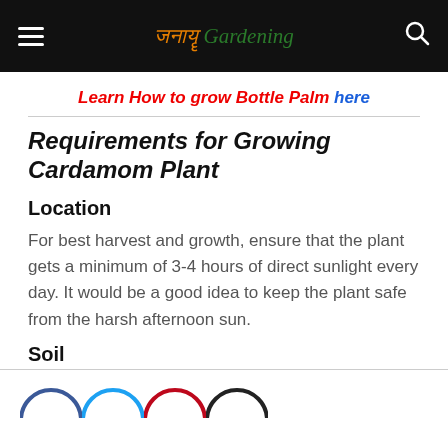India Gardening
Learn How to grow Bottle Palm here
Requirements for Growing Cardamom Plant
Location
For best harvest and growth, ensure that the plant gets a minimum of 3-4 hours of direct sunlight every day. It would be a good idea to keep the plant safe from the harsh afternoon sun.
Soil